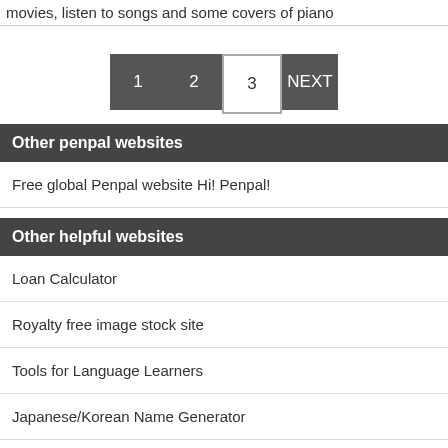movies, listen to songs and some covers of piano
1 2 3 NEXT
Other penpal websites
Free global Penpal website Hi! Penpal!
Other helpful websites
Loan Calculator
Royalty free image stock site
Tools for Language Learners
Japanese/Korean Name Generator
IP address tracing